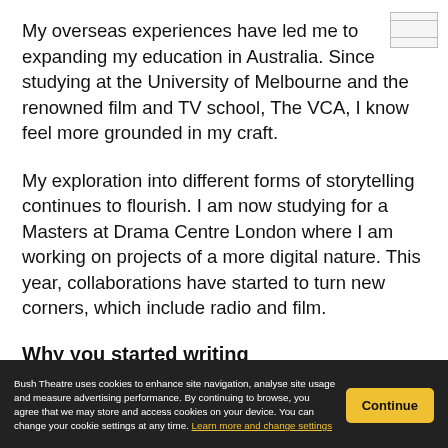My overseas experiences have led me to expanding my education in Australia. Since studying at the University of Melbourne and the renowned film and TV school, The VCA, I know feel more grounded in my craft.
My exploration into different forms of storytelling continues to flourish. I am now studying for a Masters at Drama Centre London where I am working on projects of a more digital nature. This year, collaborations have started to turn new corners, which include radio and film.
Why you started writing
...always played a big part in encouraging my imagination to flourish.
Bush Theatre uses cookies to enhance site navigation, analyse site usage and measure advertising performance. By continuing to browse, you agree that we may store and access cookies on your device. You can change your cookie settings at any time. Learn more and change settings